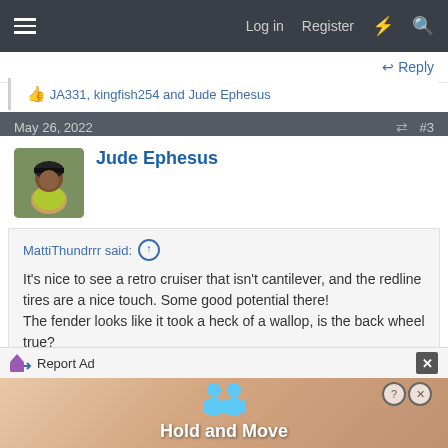Log in  Register
↩ Reply
JA331, kingfish254 and Jude Ephesus
May 26, 2022  #3
Jude Ephesus
MattiThundrrr said: ↑

It's nice to see a retro cruiser that isn't cantilever, and the redline tires are a nice touch. Some good potential there!
The fender looks like it took a heck of a wallop, is the back wheel true?
[Figure (other): Report Ad banner with Hold and Move advertisement showing two cartoon figures and a close button]